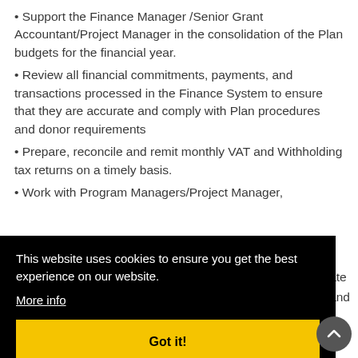Support the Finance Manager /Senior Grant Accountant/Project Manager in the consolidation of the Plan budgets for the financial year.
Review all financial commitments, payments, and transactions processed in the Finance System to ensure that they are accurate and comply with Plan procedures and donor requirements
Prepare, reconcile and remit monthly VAT and Withholding tax returns on a timely basis.
Work with Program Managers/Project Manager, …ate …and …s …oner …c …itive actions that are necessary
This website uses cookies to ensure you get the best experience on our website. More info
Got it!